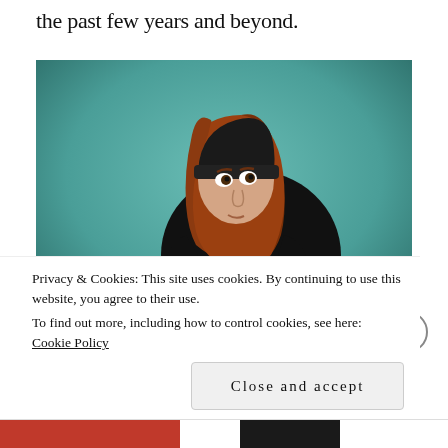the past few years and beyond.
[Figure (photo): A young woman with long red hair wearing a black beanie hat and black jacket with blue jeans and sneakers, sitting on a teal/green studio backdrop floor, looking upward.]
Privacy & Cookies: This site uses cookies. By continuing to use this website, you agree to their use.
To find out more, including how to control cookies, see here: Cookie Policy
Close and accept